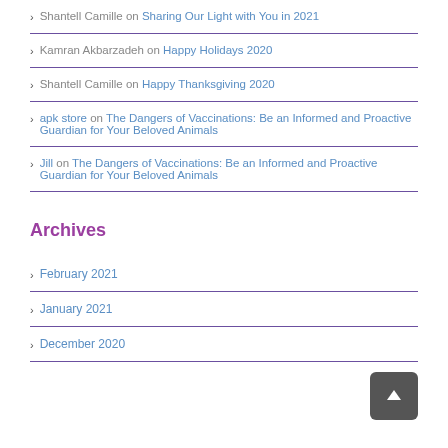Shantell Camille on Sharing Our Light with You in 2021
Kamran Akbarzadeh on Happy Holidays 2020
Shantell Camille on Happy Thanksgiving 2020
apk store on The Dangers of Vaccinations: Be an Informed and Proactive Guardian for Your Beloved Animals
Jill on The Dangers of Vaccinations: Be an Informed and Proactive Guardian for Your Beloved Animals
Archives
February 2021
January 2021
December 2020